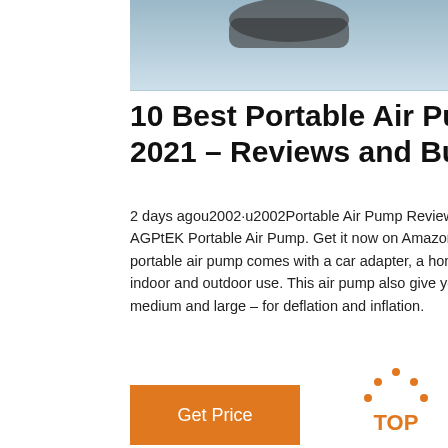[Figure (photo): Partial view of a portable air pump product on a light blue background]
10 Best Portable Air Pumps 2021 – Reviews and Buy
2 days agou2002·u2002Portable Air Pump Reviews & Buying Guide. 1. AGPtEK Portable Air Pump. Get it now on Amazon.com. The AGPtEK portable air pump comes with a car adapter, a home power adapter, for both indoor and outdoor use. This air pump also give you three nozzles – small, medium and large – for deflation and inflation.
[Figure (photo): Customer service representative woman with headset, 24/7 Online chat panel with QUOTATION button]
Get Price
[Figure (logo): TOP logo with orange dots and text]